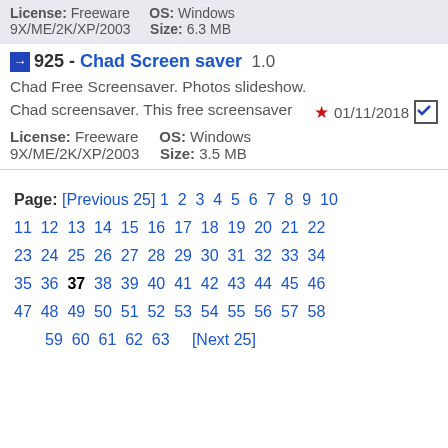License: Freeware   OS: Windows 9X/ME/2K/XP/2003   Size: 6.3 MB
925 - Chad Screen saver 1.0
Chad Free Screensaver. Photos slideshow. Chad screensaver. This free screensaver
01/11/2018
License: Freeware   OS: Windows 9X/ME/2K/XP/2003   Size: 3.5 MB
Page: [Previous 25] 1 2 3 4 5 6 7 8 9 10 11 12 13 14 15 16 17 18 19 20 21 22 23 24 25 26 27 28 29 30 31 32 33 34 35 36 37 38 39 40 41 42 43 44 45 46 47 48 49 50 51 52 53 54 55 56 57 58 59 60 61 62 63 [Next 25]